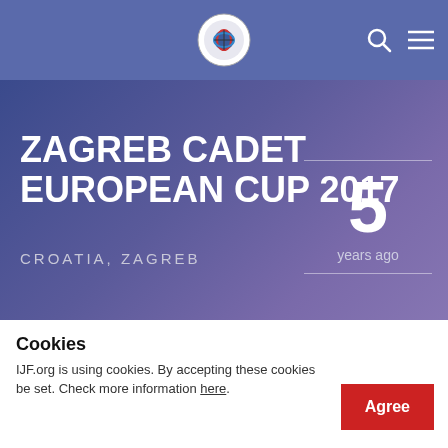IJF logo, search icon, menu icon
ZAGREB CADET EUROPEAN CUP 2017
CROATIA, ZAGREB
5 years ago
Overview
3 CONTINENTS
Cookies
IJF.org is using cookies. By accepting these cookies be set. Check more information here.